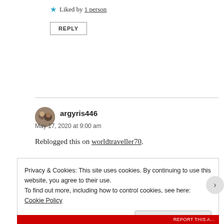★ Liked by 1 person
REPLY
argyris446
May 17, 2020 at 9:00 am
Reblogged this on worldtraveller70.
Privacy & Cookies: This site uses cookies. By continuing to use this website, you agree to their use. To find out more, including how to control cookies, see here: Cookie Policy
Close and accept